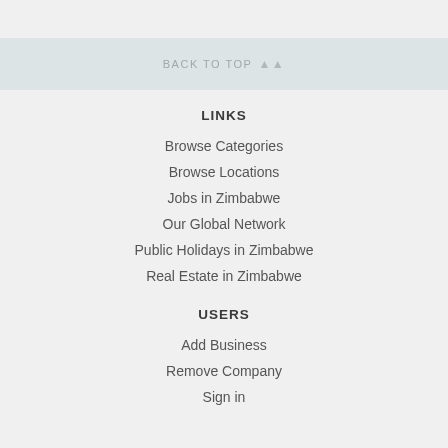BACK TO TOP ⋀⋀
LINKS
Browse Categories
Browse Locations
Jobs in Zimbabwe
Our Global Network
Public Holidays in Zimbabwe
Real Estate in Zimbabwe
USERS
Add Business
Remove Company
Sign in